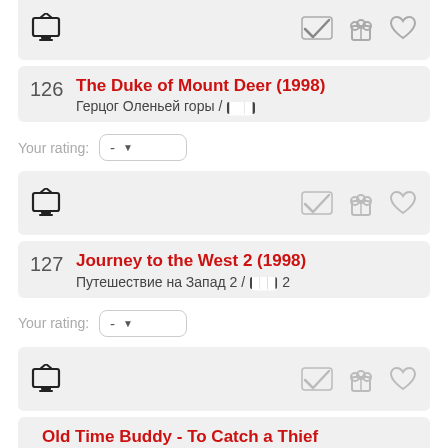[Figure (screenshot): Partial movie list item card with TV icon and action icons (checkmark, popcorn, heart) - top of page]
126 The Duke of Mount Deer (1998) / Герцог Оленьей горы / ███
Your rating: -
[Figure (screenshot): Movie list item card with TV icon and action icons (checkmark, popcorn, heart)]
127 Journey to the West 2 (1998) / Путешествие на Запад 2 / ███ 2
Your rating: -
[Figure (screenshot): Movie list item card with TV icon and action icons (checkmark, popcorn, heart)]
Old Time Buddy - To Catch a Thief (1998)